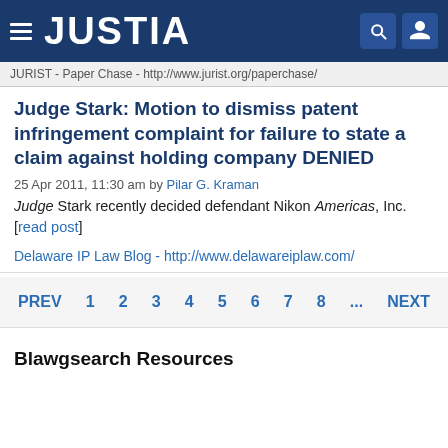JUSTIA
JURIST - Paper Chase - http://www.jurist.org/paperchase/
Judge Stark: Motion to dismiss patent infringement complaint for failure to state a claim against holding company DENIED
25 Apr 2011, 11:30 am by Pilar G. Kraman
Judge Stark recently decided defendant Nikon Americas, Inc. [read post]
Delaware IP Law Blog - http://www.delawareiplaw.com/
PREV 1 2 3 4 5 6 7 8 ... NEXT
Blawgsearch Resources